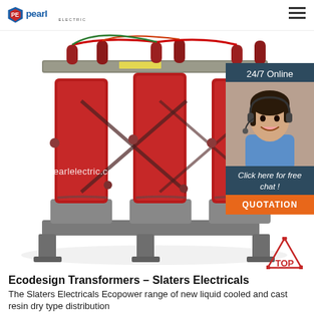Pearl Electric
[Figure (photo): A three-phase dry-type cast resin distribution transformer with red coil windings and gray steel frame/base, photographed on a white background. Website watermark 'en.pearlelectric.com' is overlaid on the image.]
[Figure (photo): 24/7 online customer service chat widget showing a woman with a headset microphone smiling, with a dark blue background, text 'Click here for free chat!' and an orange 'QUOTATION' button.]
Ecodesign Transformers – Slaters Electricals
The Slaters Electricals Ecopower range of new liquid cooled and cast resin dry type distribution